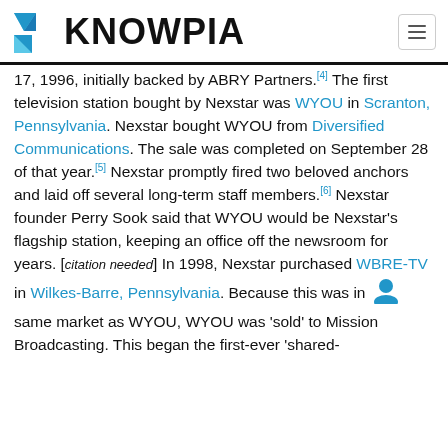KNOWPIA
17, 1996, initially backed by ABRY Partners.[4] The first television station bought by Nexstar was WYOU in Scranton, Pennsylvania. Nexstar bought WYOU from Diversified Communications. The sale was completed on September 28 of that year.[5] Nexstar promptly fired two beloved anchors and laid off several long-term staff members.[6] Nexstar founder Perry Sook said that WYOU would be Nexstar's flagship station, keeping an office off the newsroom for years. [citation needed] In 1998, Nexstar purchased WBRE-TV in Wilkes-Barre, Pennsylvania. Because this was in same market as WYOU, WYOU was 'sold' to Mission Broadcasting. This began the first-ever 'shared-